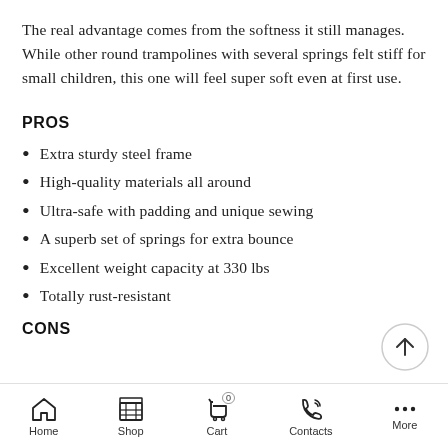The real advantage comes from the softness it still manages. While other round trampolines with several springs felt stiff for small children, this one will feel super soft even at first use.
PROS
Extra sturdy steel frame
High-quality materials all around
Ultra-safe with padding and unique sewing
A superb set of springs for extra bounce
Excellent weight capacity at 330 lbs
Totally rust-resistant
CONS
Home  Shop  Cart  Contacts  More